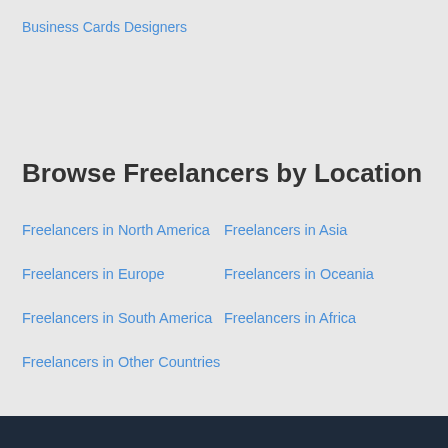Business Cards Designers
Browse Freelancers by Location
Freelancers in North America
Freelancers in Asia
Freelancers in Europe
Freelancers in Oceania
Freelancers in South America
Freelancers in Africa
Freelancers in Other Countries